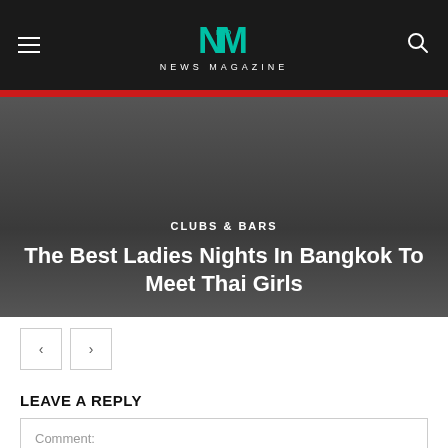NEWS MAGAZINE
[Figure (screenshot): Hero image with dark overlay showing article category CLUBS & BARS and title The Best Ladies Nights In Bangkok To Meet Thai Girls]
CLUBS & BARS
The Best Ladies Nights In Bangkok To Meet Thai Girls
< >  navigation buttons
LEAVE A REPLY
Comment: